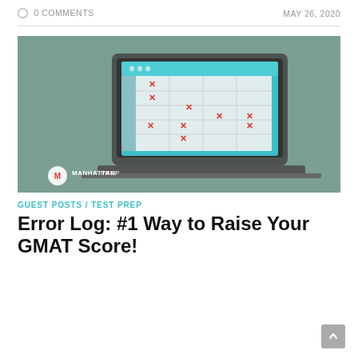0 COMMENTS   MAY 26, 2020
[Figure (illustration): Illustration of a laptop computer showing a spreadsheet/error log with red X marks scattered across cells, on a muted green background. Manhattan Prep logo visible in the bottom-left corner of the image.]
GUEST POSTS / TEST PREP
Error Log: #1 Way to Raise Your GMAT Score!